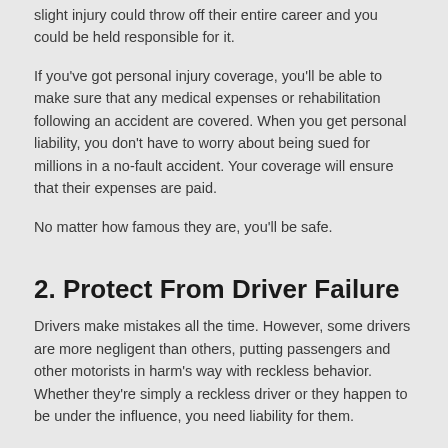slight injury could throw off their entire career and you could be held responsible for it.
If you've got personal injury coverage, you'll be able to make sure that any medical expenses or rehabilitation following an accident are covered. When you get personal liability, you don't have to worry about being sued for millions in a no-fault accident. Your coverage will ensure that their expenses are paid.
No matter how famous they are, you'll be safe.
2. Protect From Driver Failure
Drivers make mistakes all the time. However, some drivers are more negligent than others, putting passengers and other motorists in harm's way with reckless behavior. Whether they're simply a reckless driver or they happen to be under the influence, you need liability for them.
You also need employment practices liability in case anyone